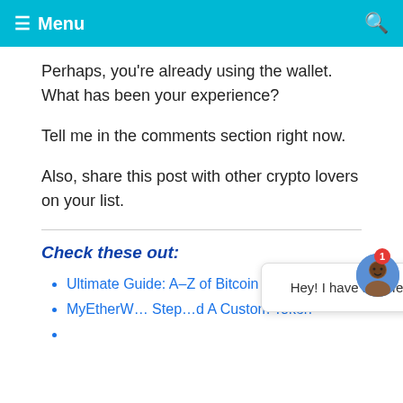≡ Menu  🔍
Perhaps, you're already using the wallet. What has been your experience?
Tell me in the comments section right now.
Also, share this post with other crypto lovers on your list.
Check these out:
Ultimate Guide: A–Z of Bitcoin Wallets (…)
MyEtherWallet … Step … d A Custom Token
…